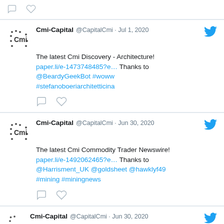[Figure (screenshot): Twitter feed showing tweets from Cmi-Capital account. First visible tweet (partial top): Jul 1 2020 tweet with comment/like icons. Second tweet: Jul 1, 2020 about Cmi Discovery Architecture. Third tweet: Jun 30, 2020 about Cmi Commodity Trader Newswire. Fourth tweet (partial): Jun 30, 2020.]